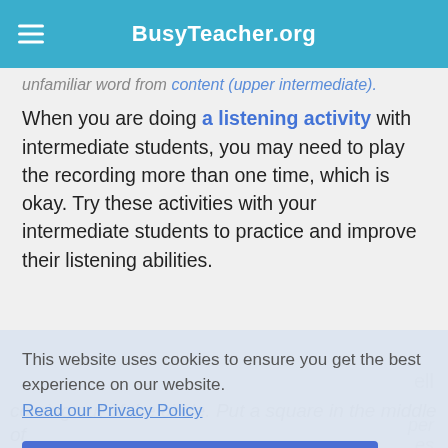BusyTeacher.org
unfamiliar word from content (upper intermediate).
When you are doing a listening activity with intermediate students, you may need to play the recording more than one time, which is okay. Try these activities with your intermediate students to practice and improve their listening abilities.
This website uses cookies to ensure you get the best experience on our website. Read our Privacy Policy
Accept!
coming out of the circle. Put a square in the middle of